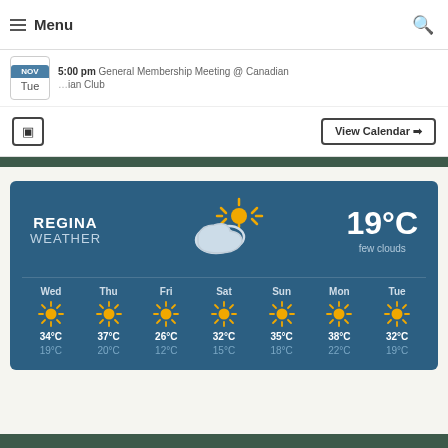≡ Menu | 5:00 pm General Membership Meeting @ Canadian Club | Tue
RSS | View Calendar →
[Figure (infographic): Regina Weather widget showing current temperature 19°C with few clouds, partly cloudy icon, and 7-day forecast: Wed 34/19°C, Thu 37/20°C, Fri 26/12°C, Sat 32/15°C, Sun 35/18°C, Mon 38/22°C, Tue 32/19°C all sunny]